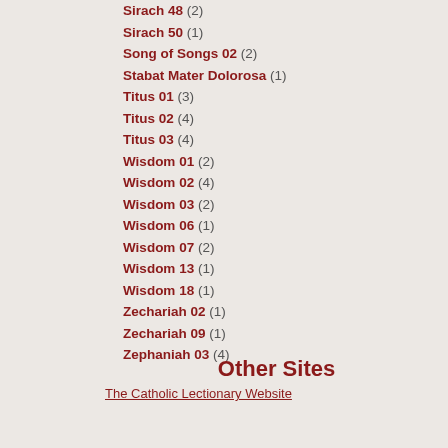Sirach 48 (2)
Sirach 50 (1)
Song of Songs 02 (2)
Stabat Mater Dolorosa (1)
Titus 01 (3)
Titus 02 (4)
Titus 03 (4)
Wisdom 01 (2)
Wisdom 02 (4)
Wisdom 03 (2)
Wisdom 06 (1)
Wisdom 07 (2)
Wisdom 13 (1)
Wisdom 18 (1)
Zechariah 02 (1)
Zechariah 09 (1)
Zephaniah 03 (4)
Other Sites
The Catholic Lectionary Website